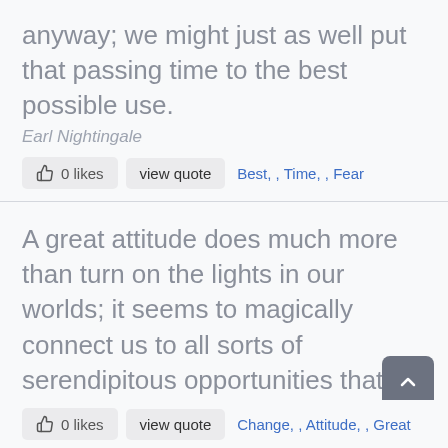anyway; we might just as well put that passing time to the best possible use.
Earl Nightingale
0 likes   view quote   Best, Time, Fear
A great attitude does much more than turn on the lights in our worlds; it seems to magically connect us to all sorts of serendipitous opportunities that were somehow absent before the change.
Earl Nightingale
0 likes   view quote   Change, Attitude, Great